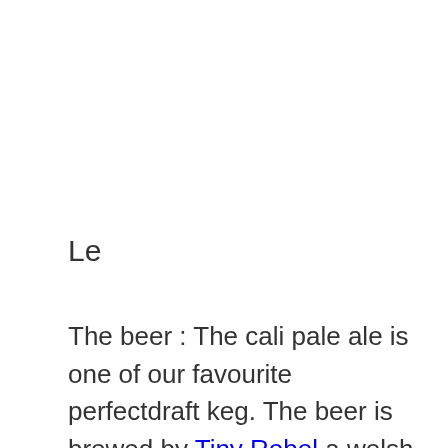Le
The beer : The cali pale ale is one of our favourite perfectdraft keg. The beer is brewed by Tiny Rebel a welsh brewery.